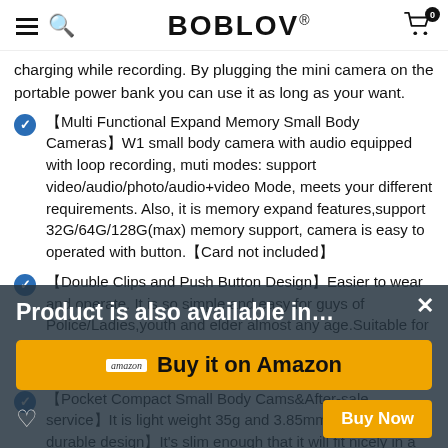BOBLOV®
charging while recording. By plugging the mini camera on the portable power bank you can use it as long as your want.
【Multi Functional Expand Memory Small Body Cameras】W1 small body camera with audio equipped with loop recording, muti modes: support video/audio/photo/audio+video Mode, meets your different requirements. Also, it is memory expand features,support 32G/64G/128G(max) memory support, camera is easy to operated with button.【Card not included】
【Double Clips and Push Button Design】Easier to wear and operate. It is so simple and easy for guys of Police/Ladies,youth and elder almost any age.Suitable for a variety of scenarios: pets recording, outdoor sports, bike cycling, meeting, lecture, hiking, evidence collection etc.
【Pocket Compact Small Body Cams&After-sale service】It is light weight 35g and 3.85mm thin.Tough and durable design】It's slim enough that it will fit nicely in a pocket, and a...
Product is also available in...
Buy it on Amazon